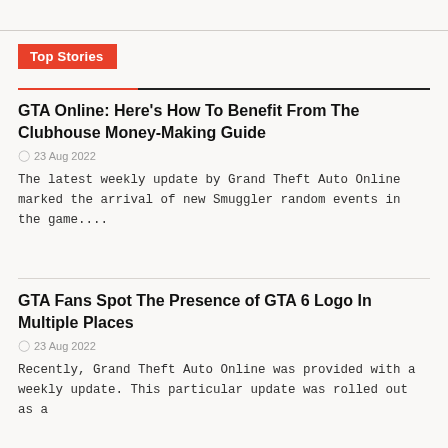Top Stories
GTA Online: Here's How To Benefit From The Clubhouse Money-Making Guide
23 Aug 2022
The latest weekly update by Grand Theft Auto Online marked the arrival of new Smuggler random events in the game....
GTA Fans Spot The Presence of GTA 6 Logo In Multiple Places
23 Aug 2022
Recently, Grand Theft Auto Online was provided with a weekly update. This particular update was rolled out as a